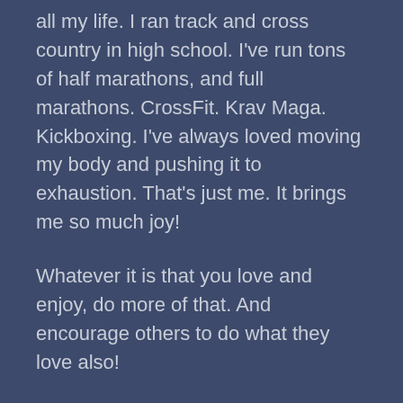all my life. I ran track and cross country in high school. I've run tons of half marathons, and full marathons. CrossFit. Krav Maga. Kickboxing. I've always loved moving my body and pushing it to exhaustion. That's just me. It brings me so much joy!
Whatever it is that you love and enjoy, do more of that. And encourage others to do what they love also!
My love shoutout today goes out to one of my favorite trainers, Jeanne, and my favorite place to train –